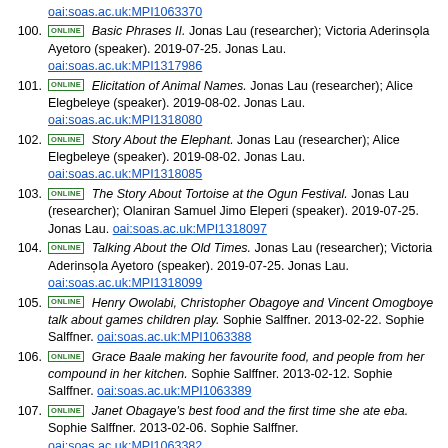oai:soas.ac.uk:MPI1063370
100. ONLINE Basic Phrases II. Jonas Lau (researcher); Victoria Aderinsola Ayetoro (speaker). 2019-07-25. Jonas Lau. oai:soas.ac.uk:MPI1317986
101. ONLINE Elicitation of Animal Names. Jonas Lau (researcher); Alice Elegbeleye (speaker). 2019-08-02. Jonas Lau. oai:soas.ac.uk:MPI1318080
102. ONLINE Story About the Elephant. Jonas Lau (researcher); Alice Elegbeleye (speaker). 2019-08-02. Jonas Lau. oai:soas.ac.uk:MPI1318085
103. ONLINE The Story About Tortoise at the Ogun Festival. Jonas Lau (researcher); Olaniran Samuel Jimo Eleperi (speaker). 2019-07-25. Jonas Lau. oai:soas.ac.uk:MPI1318097
104. ONLINE Talking About the Old Times. Jonas Lau (researcher); Victoria Aderinsola Ayetoro (speaker). 2019-07-25. Jonas Lau. oai:soas.ac.uk:MPI1318099
105. ONLINE Henry Owolabi, Christopher Obagoye and Vincent Omogboye talk about games children play. Sophie Salffner. 2013-02-22. Sophie Salffner. oai:soas.ac.uk:MPI1063388
106. ONLINE Grace Baale making her favourite food, and people from her compound in her kitchen. Sophie Salffner. 2013-02-12. Sophie Salffner. oai:soas.ac.uk:MPI1063389
107. ONLINE Janet Obagaye's best food and the first time she ate eba. Sophie Salffner. 2013-02-06. Sophie Salffner. oai:soas.ac.uk:MPI1063382
108. ONLINE Talking About Orikis. Jonas Lau (researcher); Olaniran Samuel Jimo Eleperi (speaker). 2019-09-15. Jonas Lau. oai:soas.ac.uk:MPI1318033